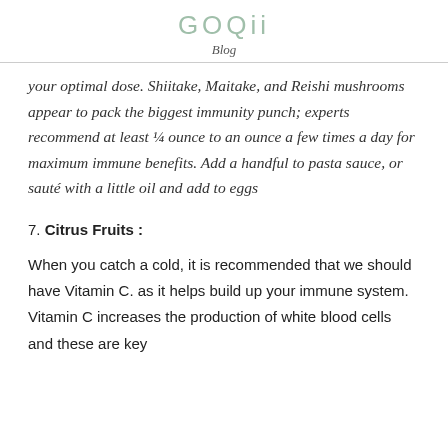GOQii
Blog
your optimal dose. Shiitake, Maitake, and Reishi mushrooms appear to pack the biggest immunity punch; experts recommend at least ¼ ounce to an ounce a few times a day for maximum immune benefits. Add a handful to pasta sauce, or sauté with a little oil and add to eggs
7. Citrus Fruits :
When you catch a cold, it is recommended that we should have Vitamin C. as it helps build up your immune system. Vitamin C increases the production of white blood cells and these are key